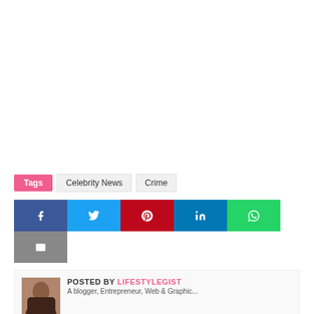Tags  Celebrity News  Crime
[Figure (infographic): Social sharing buttons: Facebook, Twitter, Pinterest, LinkedIn, WhatsApp, Email]
POSTED BY LIFESTYLEGIST
A blogger, Entrepreneur, Web & Graphic...